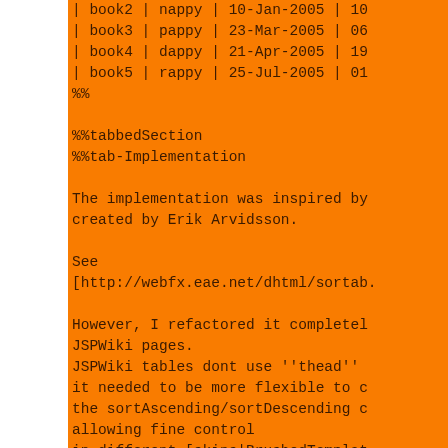| book2 | nappy | 10-Jan-2005 | 10...
| book3 | pappy | 23-Mar-2005 | 06...
| book4 | dappy | 21-Apr-2005 | 19...
| book5 | rappy | 25-Jul-2005 | 01...
%%

%%tabbedSection
%%tab-Implementation

The implementation was inspired by... created by Erik Arvidsson.

See [http://webfx.eae.net/dhtml/sortab...

However, I refactored it completely... JSPWiki pages.

JSPWiki tables dont use ''thead'' ...
it needed to be more flexible to c...
the sortAscending/sortDescending c... allowing fine control
in different [skins|BrushedTemplat...
automatic recognition of the data-... sorted.

%%

%%tab-Javascript

Check out the {{scripts/jspwiki-co... actual implementation.